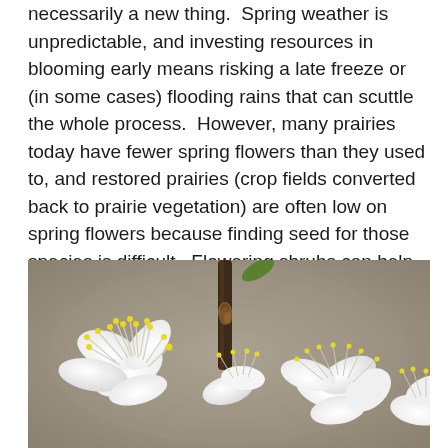necessarily a new thing.  Spring weather is unpredictable, and investing resources in blooming early means risking a late freeze or (in some cases) flooding rains that can scuttle the whole process.  However, many prairies today have fewer spring flowers than they used to, and restored prairies (crop fields converted back to prairie vegetation) are often low on spring flowers because finding seed for those species is difficult.  Flowering shrubs can help make up for a scarcity of spring wildflowers, but they are also less common these days than they used to be.
[Figure (photo): Close-up photograph of white flowering shrub blossoms with yellow-tipped stamens against a soft brown/gray background, with a dark branch visible in the center.]